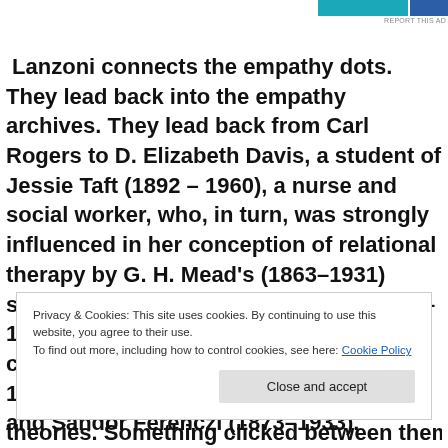[Figure (other): Advertisement banner with teal/blue graphic and 'REPORT THIS AD' text]
Lanzoni connects the empathy dots. They lead back into the empathy archives. They lead back from Carl Rogers to D. Elizabeth Davis, a student of Jessie Taft (1892 – 1960), a nurse and social worker, who, in turn, was strongly influenced in her conception of relational therapy by G. H. Mead's (1863–1931) social behaviorism and Otto Rank (1884–1939). Rank belonged to Freud's inner circle along with Ernest Jones (1879–1958), Karl Abraham (1877–1925), and Sándor Ferenczi (1873–1933).
Privacy & Cookies: This site uses cookies. By continuing to use this website, you agree to their use.
To find out more, including how to control cookies, see here: Cookie Policy
Close and accept
theories. Something clicked between them. In 1909